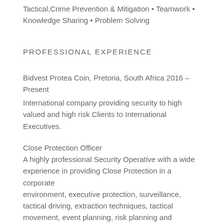Tactical,Crime Prevention & Mitigation • Teamwork • Knowledge Sharing • Problem Solving
PROFESSIONAL EXPERIENCE
Bidvest Protea Coin, Pretoria, South Africa 2016 – Present
International company providing security to high valued and high risk Clients to International Executives.
Close Protection Officer
A highly professional Security Operative with a wide experience in providing Close Protection in a corporate environment, executive protection, surveillance, tactical driving, extraction techniques, tactical movement, event planning, risk planning and assessment.